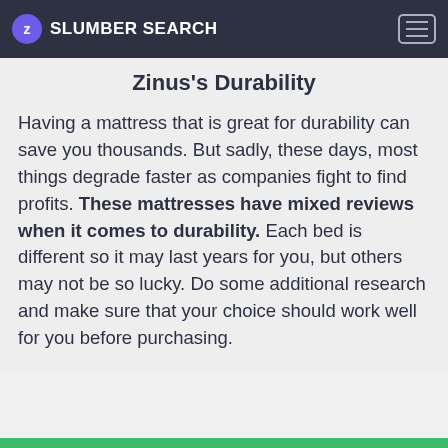SLUMBER SEARCH
Zinus's Durability
Having a mattress that is great for durability can save you thousands. But sadly, these days, most things degrade faster as companies fight to find profits. These mattresses have mixed reviews when it comes to durability. Each bed is different so it may last years for you, but others may not be so lucky. Do some additional research and make sure that your choice should work well for you before purchasing.